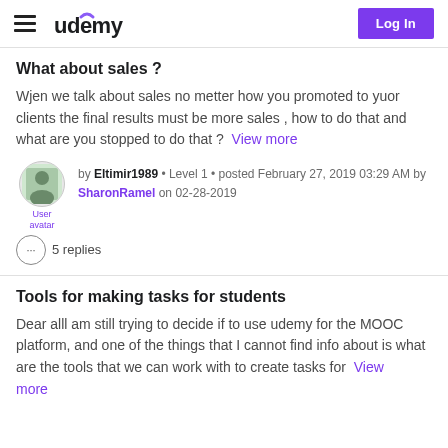Udemy Log In
What about sales ?
Wjen we talk about sales no metter how you promoted to yuor clients the final results must be more sales , how to do that and what are you stopped to do that ?  View more
by Eltimir1989 • Level 1 • posted February 27, 2019 03:29 AM by SharonRamel on 02-28-2019
5 replies
Tools for making tasks for students
Dear alll am still trying to decide if to use udemy for the MOOC platform, and one of the things that I cannot find info about is what are the tools that we can work with to create tasks for  View more